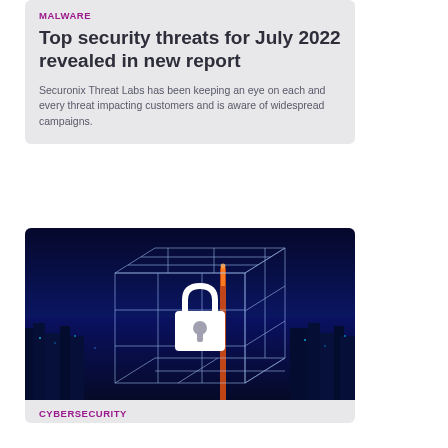MALWARE
Top security threats for July 2022 revealed in new report
Securonix Threat Labs has been keeping an eye on each and every threat impacting customers and is aware of widespread campaigns.
[Figure (photo): Night cityscape of a major Asian city with glowing grid cube overlay and a white padlock icon in the center, representing cybersecurity concept]
CYBERSECURITY